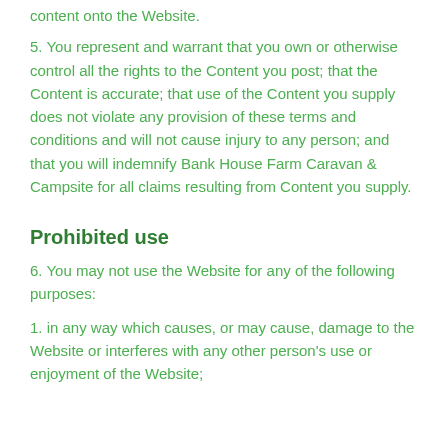content onto the Website.
5. You represent and warrant that you own or otherwise control all the rights to the Content you post; that the Content is accurate; that use of the Content you supply does not violate any provision of these terms and conditions and will not cause injury to any person; and that you will indemnify Bank House Farm Caravan & Campsite for all claims resulting from Content you supply.
Prohibited use
6. You may not use the Website for any of the following purposes:
1. in any way which causes, or may cause, damage to the Website or interferes with any other person's use or enjoyment of the Website;